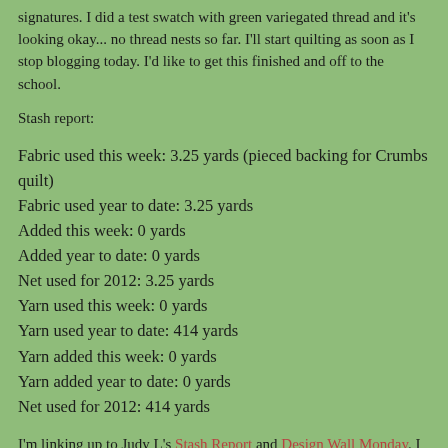signatures.  I did a test swatch with green variegated thread and it's looking okay... no thread nests so far.  I'll start quilting as soon as I stop blogging today.  I'd like to get this finished and off to the school.
Stash report:
Fabric used this week: 3.25 yards (pieced backing for Crumbs quilt)
Fabric used year to date: 3.25 yards
Added this week: 0 yards
Added year to date: 0 yards
Net used for 2012: 3.25 yards
Yarn used this week: 0 yards
Yarn used year to date: 414 yards
Yarn added this week: 0 yards
Yarn added year to date: 0 yards
Net used for 2012: 414 yards
I'm linking up to Judy L's Stash Report and Design Wall Monday. I hope it's okay to link to both.